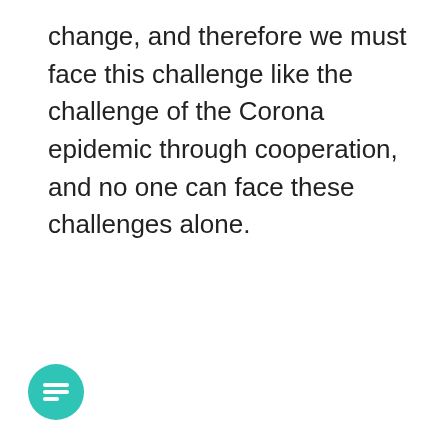change, and therefore we must face this challenge like the challenge of the Corona epidemic through cooperation, and no one can face these challenges alone.
[Figure (other): Teal/green circular chat message icon button in the bottom-left corner]